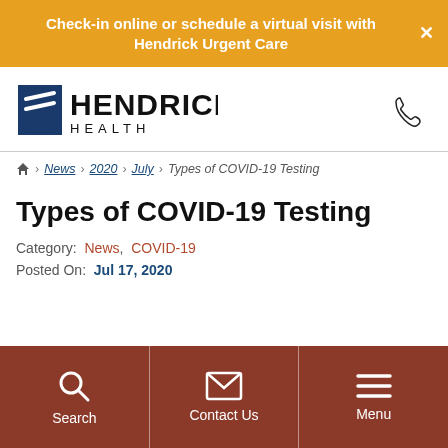Check-in online or schedule a virtual visit with Hendrick Urgent Care
[Figure (logo): Hendrick Health logo with blue wave graphic and bold text]
Home > News > 2020 > July > Types of COVID-19 Testing
Types of COVID-19 Testing
Category: News, COVID-19
Posted On: Jul 17, 2020
Search | Contact Us | Menu